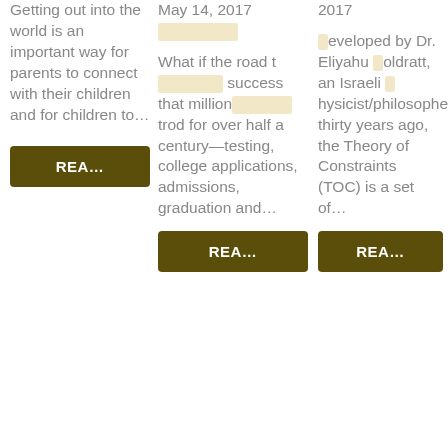Getting out into the world is an important way for parents to connect with their children and for children to...
REA...
May 14, 2017
What if the road to success that millions have trod for over half a century—testing, college applications, admissions, graduation and...
REA...
2017
developed by Dr. Eliyahu Goldratt, an Israeli physicist/philosopher thirty years ago, the Theory of Constraints (TOC) is a set of...
REA...